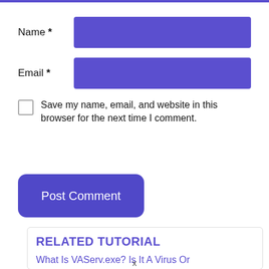Name *
Email *
Save my name, email, and website in this browser for the next time I comment.
Post Comment
RELATED TUTORIAL
What Is VAServ.exe? Is It A Virus Or
x